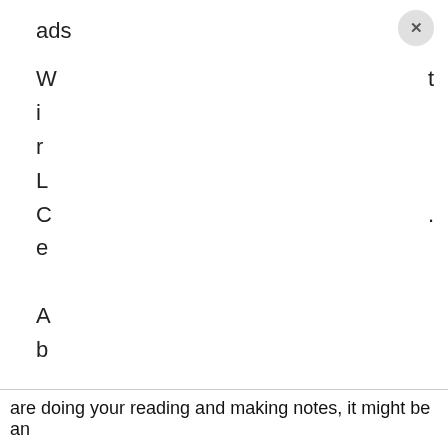ads
[Figure (screenshot): A dialog or overlay UI element with a close button (x) in the top right corner, showing partial text content cut off on the left and right edges. Letters visible on left margin: W, i, r, L, C, e, A, b, l, S, A, s, y, r. Letters/text visible on right margin: t, period.]
are doing your reading and making notes, it might be an